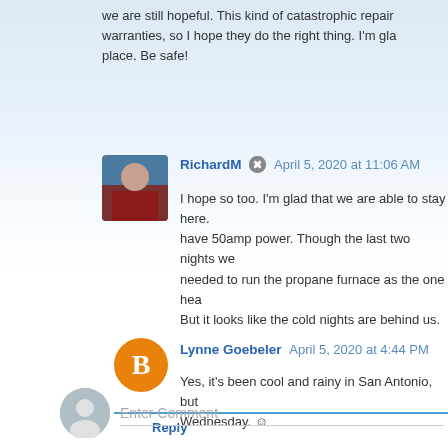we are still hopeful. This kind of catastrophic repair warranties, so I hope they do the right thing. I'm gla place. Be safe!
RichardM  April 5, 2020 at 11:06 AM
I hope so too. I'm glad that we are able to stay here. have 50amp power. Though the last two nights we needed to run the propane furnace as the one hea But it looks like the cold nights are behind us.
Lynne Goebeler  April 5, 2020 at 4:44 PM
Yes, it's been cool and rainy in San Antonio, but Wednesday. ☺
Reply
Enter Comment